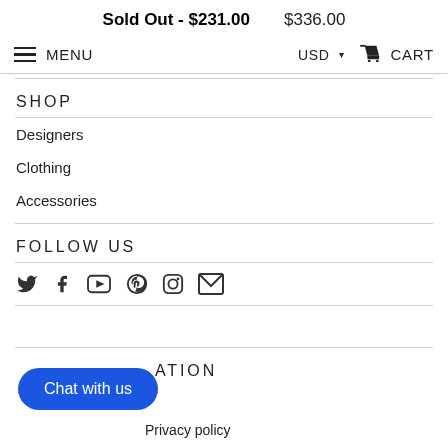Sold Out - $231.00   $336.00
MENU   USD ▾   CART
SHOP
Designers
Clothing
Accessories
FOLLOW US
[Figure (infographic): Social media icons: Twitter, Facebook, YouTube, Pinterest, Instagram, Email]
ATION
Chat with us
Privacy policy